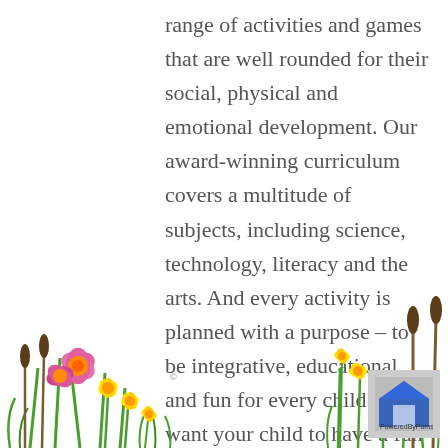range of activities and games that are well rounded for their social, physical and emotional development. Our award-winning curriculum covers a multitude of subjects, including science, technology, literacy and the arts. And every activity is planned with a purpose – to be integrative, educational and fun for every child. We want your child to have a fun and positive experience when attending our daycare, and we take every measure to ensure that happens.
[Figure (illustration): Decorative floral illustration bottom-left: pink and orange flowers with yellow daffodils and brown cattails on green stems]
[Figure (illustration): Decorative cattail and daffodil illustration on bottom-right with a logo box]